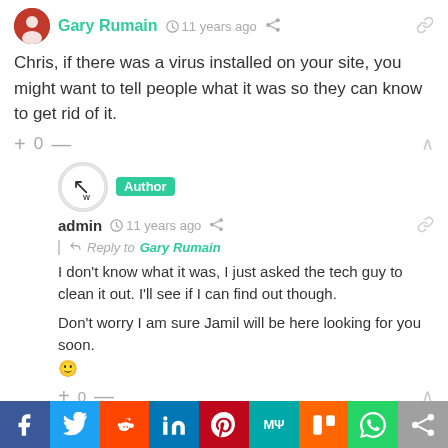Gary Rumain · 11 years ago
Chris, if there was a virus installed on your site, you might want to tell people what it was so they can know to get rid of it.
+ 0 —
admin · Author · 11 years ago · Reply to Gary Rumain
I don't know what it was, I just asked the tech guy to clean it out. I'll see if I can find out though.
Don't worry I am sure Jamil will be here looking for you soon. 🙂
+ 0 —
[Figure (infographic): Social sharing bar with Facebook, Twitter, Reddit, LinkedIn, Pinterest, MeWe, Mix, WhatsApp, and share icons]